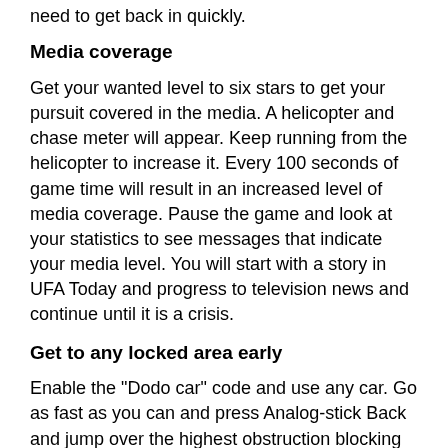need to get back in quickly.
Media coverage
Get your wanted level to six stars to get your pursuit covered in the media. A helicopter and chase meter will appear. Keep running from the helicopter to increase it. Every 100 seconds of game time will result in an increased level of media coverage. Pause the game and look at your statistics to see messages that indicate your media level. You will start with a story in UFA Today and progress to television news and continue until it is a crisis.
Get to any locked area early
Enable the "Dodo car" code and use any car. Go as fast as you can and press Analog-stick Back and jump over the highest obstruction blocking the next section of the game. Keep repeating this until you get there. Also, get a sniper rifle and find a place where boats are appearing. Wait until one is coming roughly straight at you, then take out the man piloting it with the rifle. If the boat was moving fast enough, it will coast up to you. You should be able to jump onto it. From there, you can get to almost anywhere. It may take awhile to find out good spots to try this. One recommended location is behind Diaz's mansion in the lawn behind the hedge maze. Also, enable the "Cars float on water" code